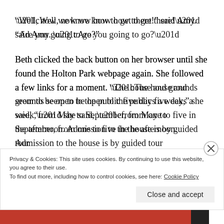“Well, now we know how to get there!” said Amy. “Are you going to go?”
Beth clicked the back button on her browser until she found the Holton Park webpage again. She followed a few links for a moment. “The house and grounds seem to be open to the public five days a week,” she said, “from May to September, from one to five in the afternoon. Admission to the house is by guided tour
Privacy & Cookies: This site uses cookies. By continuing to use this website, you agree to their use.
To find out more, including how to control cookies, see here: Cookie Policy
Close and accept